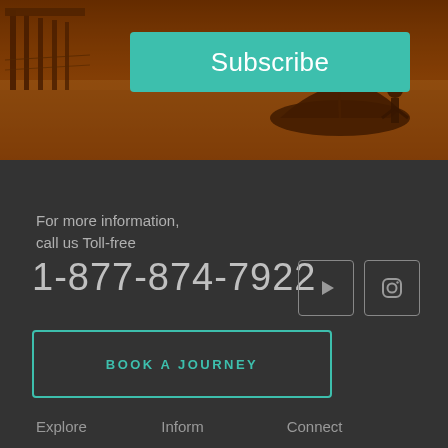[Figure (photo): Warm orange-tinted photo of a pier with boats on a beach at dusk]
Subscribe
For more information,
call us Toll-free
1-877-874-7922
[Figure (other): YouTube icon in a rounded square border]
[Figure (other): Instagram icon in a rounded square border]
BOOK A JOURNEY
Explore
Inform
Connect